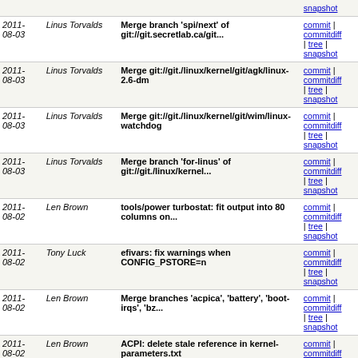| Date | Author | Commit | Links |
| --- | --- | --- | --- |
| 2011-08-03 | Linus Torvalds | Merge branch 'spi/next' of git://git.secretlab.ca/git... | commit | commitdiff | tree | snapshot |
| 2011-08-03 | Linus Torvalds | Merge git://git./linux/kernel/git/agk/linux-2.6-dm | commit | commitdiff | tree | snapshot |
| 2011-08-03 | Linus Torvalds | Merge git://git./linux/kernel/git/wim/linux-watchdog | commit | commitdiff | tree | snapshot |
| 2011-08-03 | Linus Torvalds | Merge branch 'for-linus' of git://git./linux/kernel... | commit | commitdiff | tree | snapshot |
| 2011-08-02 | Len Brown | tools/power turbostat: fit output into 80 columns on... | commit | commitdiff | tree | snapshot |
| 2011-08-02 | Tony Luck | efivars: fix warnings when CONFIG_PSTORE=n | commit | commitdiff | tree | snapshot |
| 2011-08-02 | Len Brown | Merge branches 'acpica', 'battery', 'boot-irqs', 'bz... | commit | commitdiff | tree | snapshot |
| 2011-08-02 | Len Brown | ACPI: delete stale reference in kernel-parameters.txt | commit | commitdiff | tree | snapshot |
| 2011-08-02 | Julia Lawall | arch/tile/mm/init.c: trivial: use BUG_ON | commit | commitdiff | tree | snapshot |
| 2011-08-02 | Chris Metcalf | Merge tag 'v3.0' of git://git./linux/kernel/git/torvald... | commit | commitdiff | tree | snapshot |